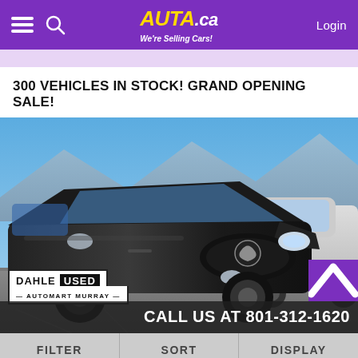AUTA.ca We're Selling Cars! Login
300 VEHICLES IN STOCK! GRAND OPENING SALE!
[Figure (photo): Black Mazda CX-5 SUV parked in a dealer lot under a clear blue sky, with another vehicle visible to the right. Dahle Used Automart Murray dealer badge overlaid at bottom-left. Purple scroll-up chevron button at bottom-right.]
CALL US AT 801-312-1620
FILTER  SORT  DISPLAY